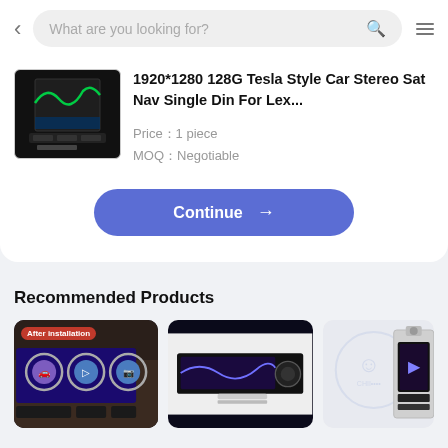What are you looking for?
1920*1280 128G Tesla Style Car Stereo Sat Nav Single Din For Lex...
Price：1 piece
MOQ：Negotiable
Continue →
Recommended Products
[Figure (photo): Three recommended car stereo product images shown in a horizontal grid]